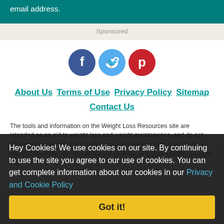email address.
Sponsored
[Figure (infographic): Social media icons: Facebook (dark blue circle with f), Twitter (light blue circle with bird), Pinterest (red circle with P)]
About Us   Terms of Use   Privacy Policy   Sitemap   Contact Us
The tools and information on the Weight Loss Resources site are intended as an aid to weight loss and weight maintenance, and do not offer medical advice. If you suffer from, or think you may suffer from, a medical condition you should consult your doctor before starting a weight loss
Hey Cookies! We use cookies on our site. By continuing to use the site you agree to our use of cookies. You can get complete information about our cookies in our Privacy and Cookie Policy
Got it!